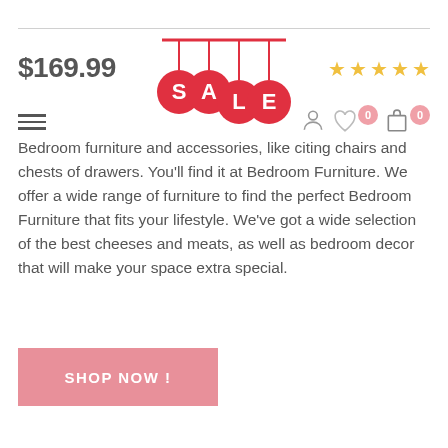$169.99
[Figure (illustration): Hanging SALE sign with red circular tags spelling S-A-L-E]
[Figure (infographic): Five gold star rating icons]
[Figure (infographic): Navigation icons: hamburger menu, user account, heart/wishlist with badge 0, shopping bag with badge 0]
Bedroom furniture and accessories, like citing chairs and chests of drawers. You'll find it at Bedroom Furniture. We offer a wide range of furniture to find the perfect Bedroom Furniture that fits your lifestyle. We've got a wide selection of the best cheeses and meats, as well as bedroom decor that will make your space extra special.
SHOP NOW !